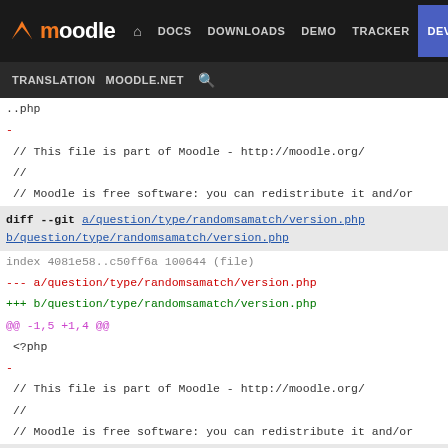moodle DOCS DOWNLOADS DEMO TRACKER DEV TRANSLATION MOODLE.NET
..php
-
 // This file is part of Moodle - http://moodle.org/
 //
 // Moodle is free software: you can redistribute it and/or
diff --git a/question/type/randomsamatch/version.php b/question/type/randomsamatch/version.php
index 4081e58..c50ff6a 100644 (file)
--- a/question/type/randomsamatch/version.php
+++ b/question/type/randomsamatch/version.php
@@ -1,5 +1,4 @@
 <?php
-
 // This file is part of Moodle - http://moodle.org/
 //
 // Moodle is free software: you can redistribute it and/or
diff --git a/question/type/rendererbase.php b/question/type/rendererbase.php
index d5259c4..6edc70e 100644 (file)
--- a/question/type/rendererbase.php
+++ b/question/type/rendererbase.php
@@ -1,5 +1,4 @@
 <?php
-